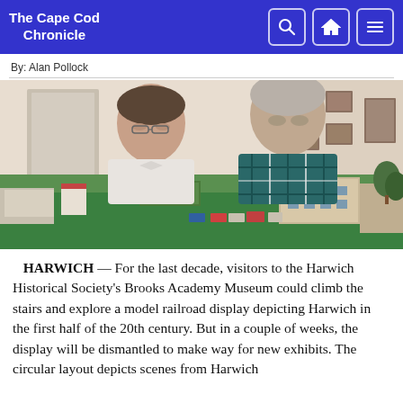The Cape Cod Chronicle
By: Alan Pollock
[Figure (photo): Two men leaning over a model railroad display showing miniature buildings, trains, and vehicles depicting Harwich in the early 20th century, inside a museum setting.]
HARWICH — For the last decade, visitors to the Harwich Historical Society's Brooks Academy Museum could climb the stairs and explore a model railroad display depicting Harwich in the first half of the 20th century. But in a couple of weeks, the display will be dismantled to make way for new exhibits. The circular layout depicts scenes from Harwich